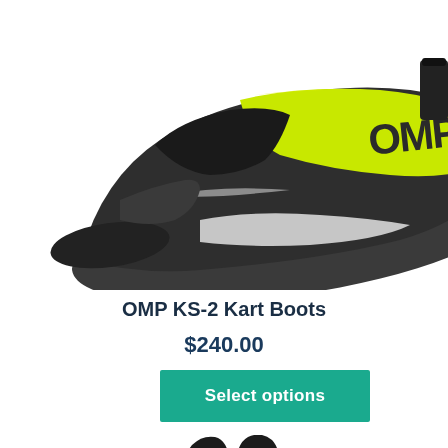[Figure (photo): Close-up photo of an OMP KS-2 kart boot/shoe, showing yellow-green and dark gray/black coloring with 'OMP' branding on the toe area. White accent stripe visible.]
OMP KS-2 Kart Boots
$240.00
Select options
[Figure (photo): Partial photo of black racing gloves, showing the finger area spread open from above.]